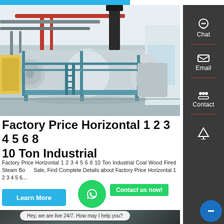[Figure (photo): Industrial horizontal steam boiler units installed in a factory/plant setting. Large cylindrical white/grey boilers with blue metal framework, red piping visible overhead, factory interior with white walls and natural lighting.]
Factory Price Horizontal 1 2 3 4 5 6 8 10 Ton Industrial
Factory Price Horizontal 1 2 3 4 5 6 8 10 Ton Industrial Coal Wood Fired Steam Boiler Sale, Find Complete Details about Factory Price Horizontal 1 2 3 4 5 6...
[Figure (screenshot): Bottom partial photo of industrial equipment in a factory setting, dark tones.]
Hey, we are live 24/7. How may I help you?